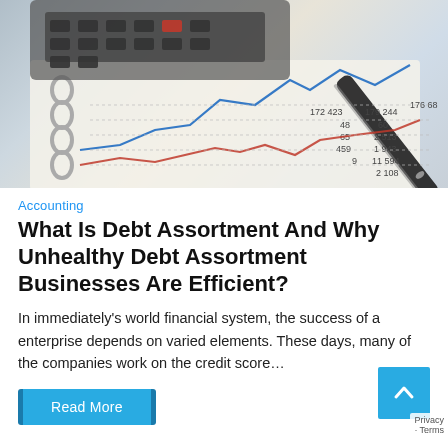[Figure (photo): Photo of a financial chart with a calculator, spiral notebook, pen, and financial data with colored line graphs (blue and red lines) on paper]
Accounting
What Is Debt Assortment And Why Unhealthy Debt Assortment Businesses Are Efficient?
In immediately's world financial system, the success of a enterprise depends on varied elements. These days, many of the companies work on the credit score…
Read More